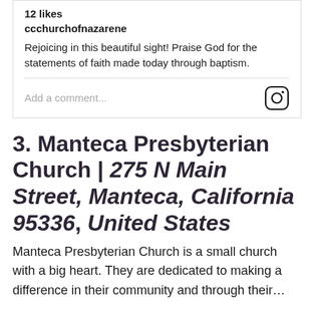12 likes
ccchurchofnazarene
Rejoicing in this beautiful sight! Praise God for the statements of faith made today through baptism.
[Figure (screenshot): Instagram comment input bar with camera/Instagram icon on the right, placeholder text 'Add a comment...']
3. Manteca Presbyterian Church | 275 N Main Street, Manteca, California 95336, United States
Manteca Presbyterian Church is a small church with a big heart. They are dedicated to making a difference in their community and through their...